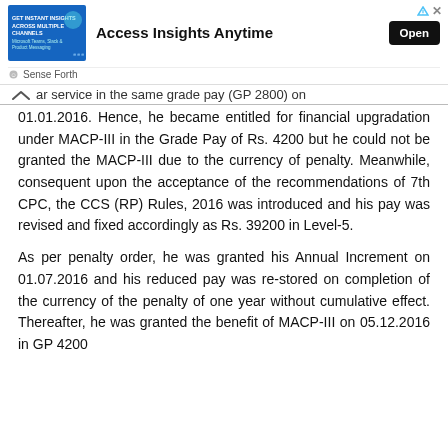[Figure (other): Advertisement banner: 'Access Insights Anytime' with Open button, showing a blue image box on the left with text about insights across multiple channels]
ar service in the same grade pay (GP 2800) on 01.01.2016. Hence, he became entitled for financial upgradation under MACP-III in the Grade Pay of Rs. 4200 but he could not be granted the MACP-III due to the currency of penalty. Meanwhile, consequent upon the acceptance of the recommendations of 7th CPC, the CCS (RP) Rules, 2016 was introduced and his pay was revised and fixed accordingly as Rs. 39200 in Level-5.
As per penalty order, he was granted his Annual Increment on 01.07.2016 and his reduced pay was restored on completion of the currency of the penalty of one year without cumulative effect. Thereafter, he was granted the benefit of MACP-III on 05.12.2016 in GP 4200